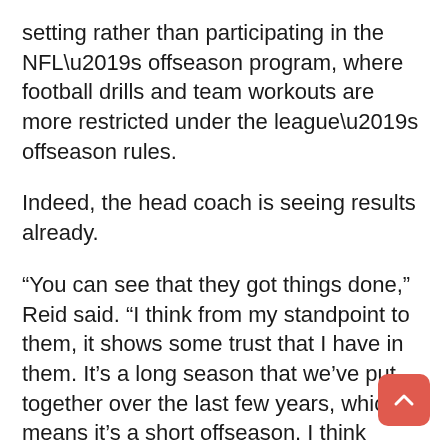setting rather than participating in the NFL’s offseason program, where football drills and team workouts are more restricted under the league’s offseason rules.
Indeed, the head coach is seeing results already.
“You can see that they got things done,” Reid said. “I think from my standpoint to them, it shows some trust that I have in them. It’s a long season that we’ve put together over the last few years, which means it’s a short offseason. I think sometimes it’s not bad just to step back an inch, and then you guys felt the energy out there today, it’s ridiculous right now.”
Mahomes worked out in Texas over the course of a month with players shuffling in and out as their schedules allowed. It also provided Mahomes with an